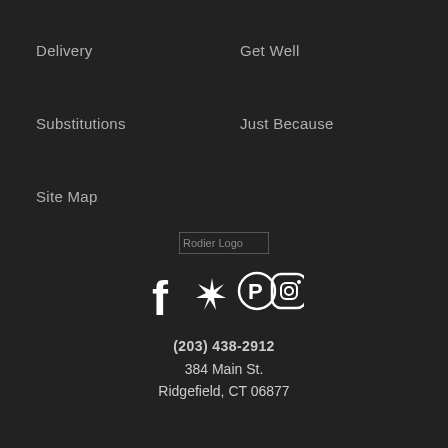Delivery
Get Well
Substitutions
Just Because
Site Map
[Figure (logo): Rodier Logo placeholder image]
[Figure (infographic): Social media icons: Facebook, Yelp, Pinterest, Instagram]
(203) 438-2912
384 Main St.
Ridgefield, CT 06877